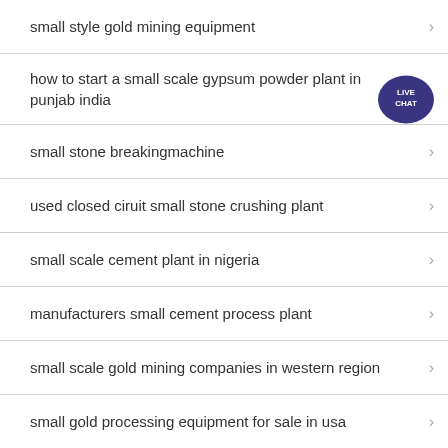small style gold mining equipment
how to start a small scale gypsum powder plant in punjab india
small stone breakingmachine
used closed ciruit small stone crushing plant
small scale cement plant in nigeria
manufacturers small cement process plant
small scale gold mining companies in western region
small gold processing equipment for sale in usa
used small coal processing equipment